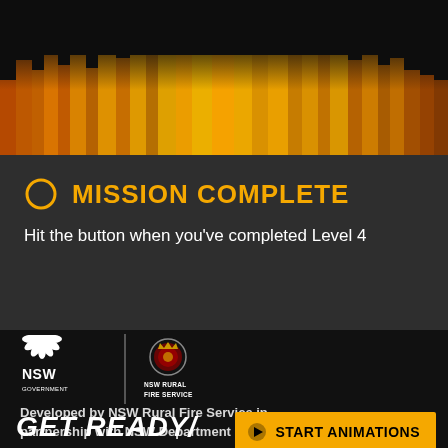[Figure (illustration): Stylized fire/flame animation image with orange and yellow pixelated flames against a black background]
MISSION COMPLETE
Hit the button when you've completed Level 4
[Figure (logo): NSW Government logo (white lotus/waratah with NSW GOVERNMENT text) and NSW Rural Fire Service emblem side by side with vertical divider]
Developed by NSW Rural Fire Service in partnership with NSW Department of Education
GET READY/
START ANIMATIONS